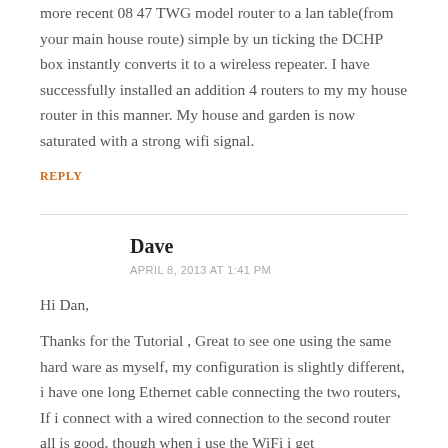more recent 08 47 TWG model router to a lan table(from your main house route) simple by un ticking the DCHP box instantly converts it to a wireless repeater. I have successfully installed an addition 4 routers to my my house router in this manner. My house and garden is now saturated with a strong wifi signal.
REPLY
Dave
APRIL 8, 2013 AT 1:41 PM
Hi Dan,
Thanks for the Tutorial , Great to see one using the same hard ware as myself, my configuration is slightly different, i have one long Ethernet cable connecting the two routers, If i connect with a wired connection to the second router all is good, though when i use the WiFi i get